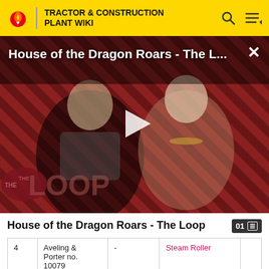TRACTOR & CONSTRUCTION PLANT WIKI
[Figure (screenshot): Video thumbnail for 'House of the Dragon Roars - The L...' showing two characters against a red and black diagonal striped background with THE LOOP badge and a play button in the center]
House of the Dragon Roars - The Loop
| # | Name |  | Type | Year |
| --- | --- | --- | --- | --- |
| 4 | Aveling & Porter no. 10079 | - | Steam Roller |  |
| 5 | Burrell no. | The Big A | Agricultural | 18 |